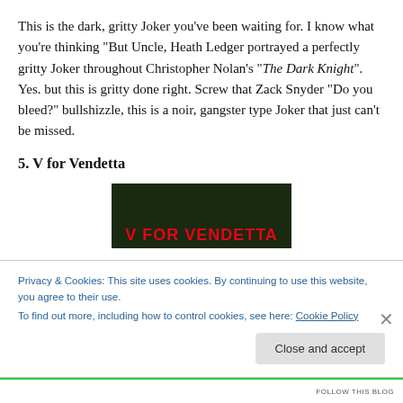This is the dark, gritty Joker you've been waiting for. I know what you're thinking "But Uncle, Heath Ledger portrayed a perfectly gritty Joker throughout Christopher Nolan's "The Dark Knight". Yes. but this is gritty done right. Screw that Zack Snyder "Do you bleed?" bullshizzle, this is a noir, gangster type Joker that just can't be missed.
5. V for Vendetta
[Figure (photo): Book cover of V for Vendetta with dark green background and red bold title text]
Privacy & Cookies: This site uses cookies. By continuing to use this website, you agree to their use.
To find out more, including how to control cookies, see here: Cookie Policy
Close and accept